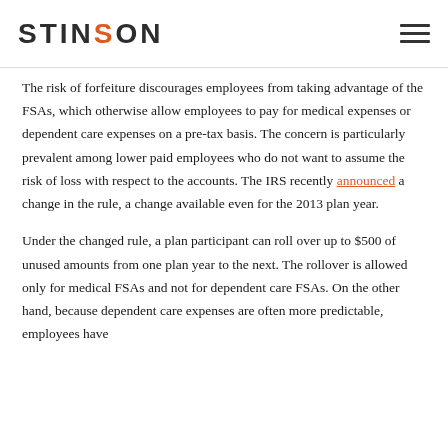STINSON
The risk of forfeiture discourages employees from taking advantage of the FSAs, which otherwise allow employees to pay for medical expenses or dependent care expenses on a pre-tax basis. The concern is particularly prevalent among lower paid employees who do not want to assume the risk of loss with respect to the accounts. The IRS recently announced a change in the rule, a change available even for the 2013 plan year.
Under the changed rule, a plan participant can roll over up to $500 of unused amounts from one plan year to the next. The rollover is allowed only for medical FSAs and not for dependent care FSAs. On the other hand, because dependent care expenses are often more predictable, employees have